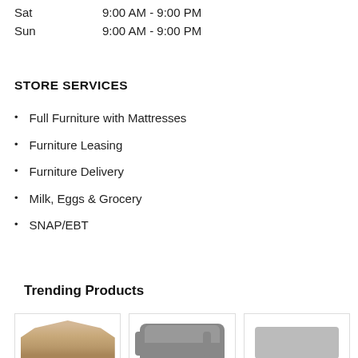Sat    9:00 AM - 9:00 PM
Sun    9:00 AM - 9:00 PM
STORE SERVICES
Full Furniture with Mattresses
Furniture Leasing
Furniture Delivery
Milk, Eggs & Grocery
SNAP/EBT
Trending Products
[Figure (photo): Three product images: a gazebo, a grey armchair/sofa, and a partially visible third product.]